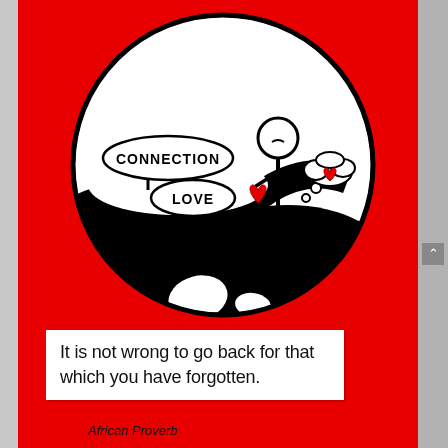[Figure (illustration): A circular black-and-white illustration on a red background. Inside the circle: a stick figure person holding a red heart, standing on a globe/landscape. Two speech-bubble style signs read 'CONNECTION' and 'LOVE'. A thought bubble with a heart appears to the right of the figure. The background is black rolling hills inside the circle.]
It is not wrong to go back for that which you have forgotten.
African Proverb